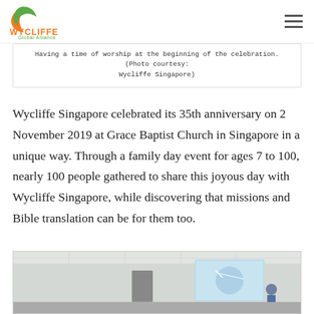Wycliffe Global Alliance
Having a time of worship at the beginning of the celebration. (Photo courtesy: Wycliffe Singapore)
Wycliffe Singapore celebrated its 35th anniversary on 2 November 2019 at Grace Baptist Church in Singapore in a unique way. Through a family day event for ages 7 to 100, nearly 100 people gathered to share this joyous day with Wycliffe Singapore, while discovering that missions and Bible translation can be for them too.
[Figure (photo): Interior of a room with people seated, a projector screen showing a presentation, ceiling tiles and lighting visible.]